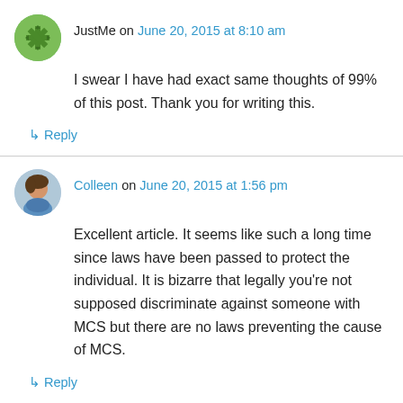JustMe on June 20, 2015 at 8:10 am
I swear I have had exact same thoughts of 99% of this post. Thank you for writing this.
↳ Reply
Colleen on June 20, 2015 at 1:56 pm
Excellent article. It seems like such a long time since laws have been passed to protect the individual. It is bizarre that legally you're not supposed discriminate against someone with MCS but there are no laws preventing the cause of MCS.
↳ Reply